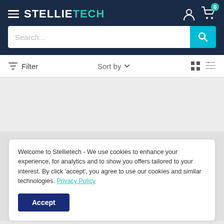STELLIETECH header with hamburger menu, logo, user icon, cart icon with badge 0
Search...
Filter  Sort by ∨
Welcome to Stellietech - We use cookies to enhance your experience, for analytics and to show you offers tailored to your interest. By click 'accept', you agree to use our cookies and similar technologies. Privacy Policy
Accept